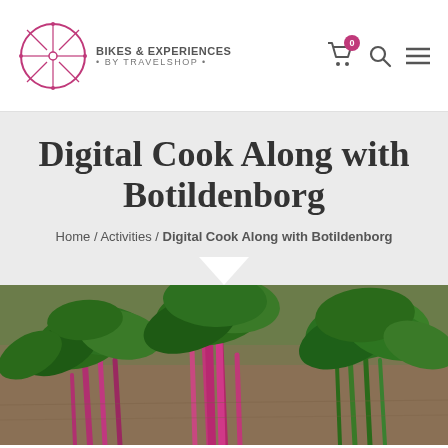BIKES & EXPERIENCES • BY TRAVELSHOP •
Digital Cook Along with Botildenborg
Home / Activities / Digital Cook Along with Botildenborg
[Figure (photo): Close-up photo of fresh green leafy vegetables with bright magenta/red stems (likely Swiss chard or beet greens) laid on a rough surface]